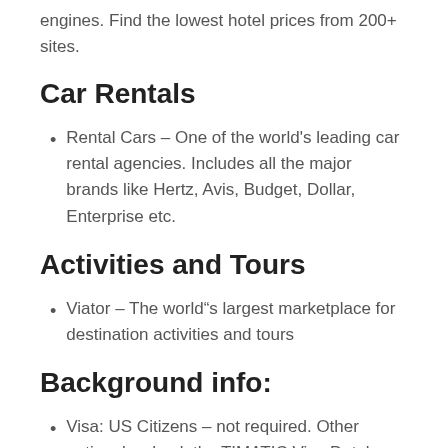engines. Find the lowest hotel prices from 200+ sites.
Car Rentals
Rental Cars – One of the world's leading car rental agencies. Includes all the major brands like Hertz, Avis, Budget, Dollar, Enterprise etc.
Activities and Tours
Viator – The world"s largest marketplace for destination activities and tours
Background info:
Visa: US Citizens – not required. Other nationals, check the TIMATIC Visa Database